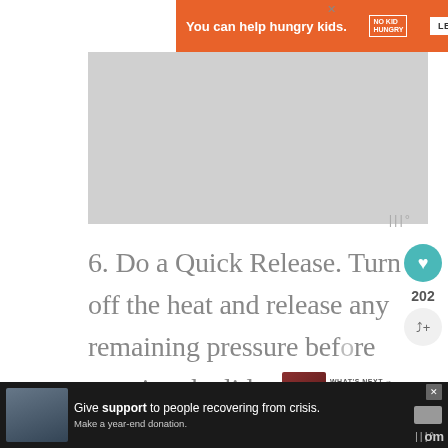[Figure (screenshot): Orange ad banner: 'You can help hungry kids. NO KID HUNGRY LEARN HOW']
[Figure (photo): Gray placeholder image area for a recipe photo]
6. Do a Quick Release. Turn off the heat and release any remaining pressure before opening the lid.
[Figure (screenshot): Bottom ad: 'Give support to people recovering from crisis. Make a year-end donation.']